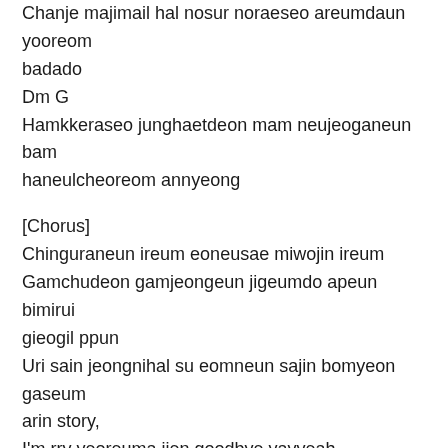Chanje majimail hal nosur noraeseo areumdaun yooreom badado
Dm G
Hamkkeraseo junghaetdeon mam neujeoganeun bam haneulcheoreom annyeong
[Chorus]
Chinguraneun ireum eoneusae miwojin ireum
Gamchudeon gamjeongeun jigeumdo apeun bimirui gieogil ppun
Uri sain jeongnihal su eomneun sajin bomyeon gaseum arin story,
I'm rry yeoreuma ijen goodbye yayyeah
[Bridge] F Em